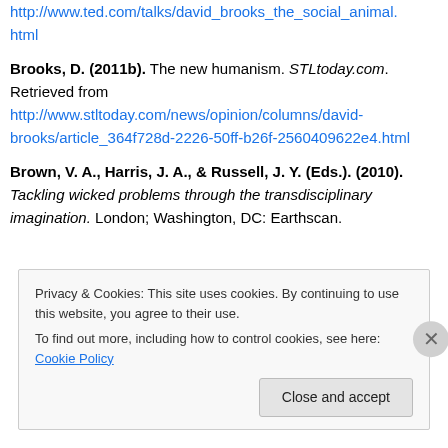http://www.ted.com/talks/david_brooks_the_social_animal.html
Brooks, D. (2011b). The new humanism. STLtoday.com. Retrieved from http://www.stltoday.com/news/opinion/columns/david-brooks/article_364f728d-2226-50ff-b26f-2560409622e4.html
Brown, V. A., Harris, J. A., & Russell, J. Y. (Eds.). (2010). Tackling wicked problems through the transdisciplinary imagination. London; Washington, DC: Earthscan.
Privacy & Cookies: This site uses cookies. By continuing to use this website, you agree to their use. To find out more, including how to control cookies, see here: Cookie Policy